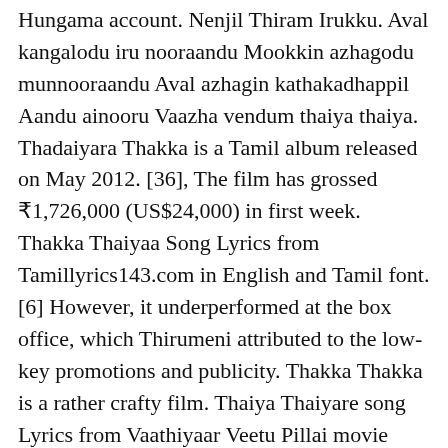Hungama account. Nenjil Thiram Irukku. Aval kangalodu iru nooraandu Mookkin azhagodu munnooraandu Aval azhagin kathakadhappil Aandu ainooru Vaazha vendum thaiya thaiya. Thadaiyara Thakka is a Tamil album released on May 2012. [36], The film has grossed ₹1,726,000 (US$24,000) in first week. Thakka Thaiyaa Song Lyrics from Tamillyrics143.com in English and Tamil font. [6] However, it underperformed at the box office, which Thirumeni attributed to the low-key promotions and publicity. Thakka Thakka is a rather crafty film. Thaiya Thaiyare song Lyrics from Vaathiyaar Veetu Pillai movie with English Translation. Thakka Thaiyaa song lyrics listed in the site are for promotional purposes only; We do not provide paid / free Thakka Thaiyaa song download. Megham Pizhindhu. Thakka Thaiyaa Song